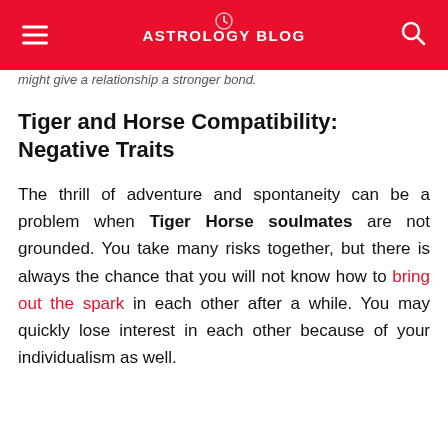ASTROLOGY BLOG
might give a relationship a stronger bond.
Tiger and Horse Compatibility: Negative Traits
The thrill of adventure and spontaneity can be a problem when Tiger Horse soulmates are not grounded. You take many risks together, but there is always the chance that you will not know how to bring out the spark in each other after a while. You may quickly lose interest in each other because of your individualism as well.